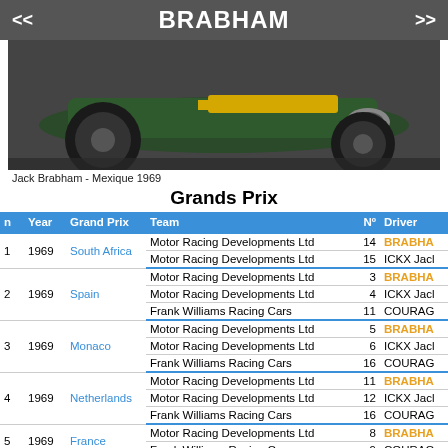<< BRABHAM >>
[Figure (photo): Photo of a Brabham Formula 1 car (green and yellow) driven by Jack Brabham at Mexico 1969, showing the rear of the car on track]
Jack Brabham - Mexique 1969
Grands Prix
| n | Year | Grand Prix | Team | Nº | Driver |
| --- | --- | --- | --- | --- | --- |
| 1 | 1969 | South Africa | Motor Racing Developments Ltd | 14 | BRABHA... |
|  |  |  | Motor Racing Developments Ltd | 15 | ICKX Jacl... |
| 2 | 1969 | Spain | Motor Racing Developments Ltd | 3 | BRABHA... |
|  |  |  | Motor Racing Developments Ltd | 4 | ICKX Jacl... |
|  |  |  | Frank Williams Racing Cars | 11 | COURAG... |
| 3 | 1969 | Monaco | Motor Racing Developments Ltd | 5 | BRABHA... |
|  |  |  | Motor Racing Developments Ltd | 6 | ICKX Jacl... |
|  |  |  | Frank Williams Racing Cars | 16 | COURAG... |
| 4 | 1969 | Netherlands | Motor Racing Developments Ltd | 11 | BRABHA... |
|  |  |  | Motor Racing Developments Ltd | 12 | ICKX Jacl... |
|  |  |  | Frank Williams Racing Cars | 16 | COURAG... |
| 5 | 1969 | France | Motor Racing Developments Ltd | 8 | BRABHA... |
|  |  |  | Frank Williams Racing Cars | 9 | COURAG... |